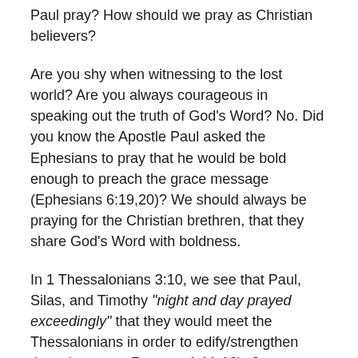Paul pray? How should we pray as Christian believers?
Are you shy when witnessing to the lost world? Are you always courageous in speaking out the truth of God's Word? No. Did you know the Apostle Paul asked the Ephesians to pray that he would be bold enough to preach the grace message (Ephesians 6:19,20)? We should always be praying for the Christian brethren, that they share God's Word with boldness.
In 1 Thessalonians 3:10, we see that Paul, Silas, and Timothy “night and day prayed exceedingly” that they would meet the Thessalonians in order to edify/strengthen them (compare Romans 1:11-12). Compare this to the last of the large Pauline prayer models. Turn to Colossians 1:9-12 KJV:
“9 For this cause we also, since the day we heard it, do